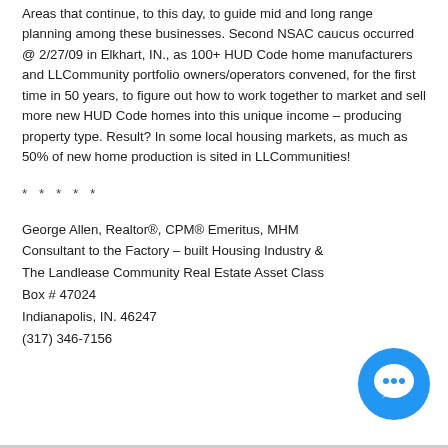Areas that continue, to this day, to guide mid and long range planning among these businesses. Second NSAC caucus occurred @ 2/27/09 in Elkhart, IN., as 100+ HUD Code home manufacturers and LLCommunity portfolio owners/operators convened, for the first time in 50 years, to figure out how to work together to market and sell more new HUD Code homes into this unique income – producing property type. Result? In some local housing markets, as much as 50% of new home production is sited in LLCommunities!
* * * * *
George Allen, Realtor®, CPM® Emeritus, MHM Consultant to the Factory – built Housing Industry & The Landlease Community Real Estate Asset Class Box # 47024 Indianapolis, IN. 46247 (317) 346-7156
[Figure (illustration): Blue circular chat/message bubble icon in bottom right corner]